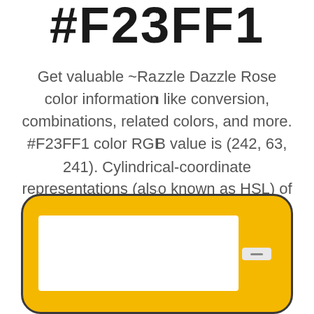#F23FF1
Get valuable ~Razzle Dazzle Rose color information like conversion, combinations, related colors, and more. #F23FF1 color RGB value is (242, 63, 241). Cylindrical-coordinate representations (also known as HSL) of color #F23FF1 hue: -10320 , saturation: 3 and the lightness value of #F23FF1 is 94.
[Figure (other): Yellow rounded rectangle card UI element with a white input box area and a minus/dash button on the right side]